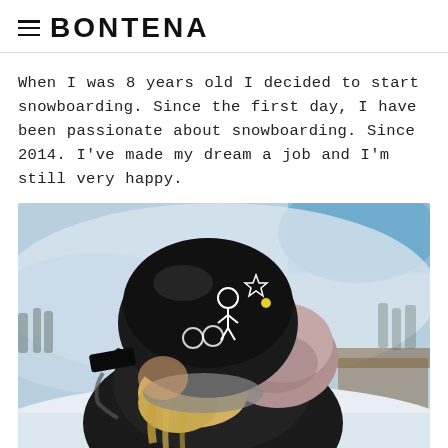≡ BONTENA
When I was 8 years old I decided to start snowboarding. Since the first day, I have been passionate about snowboarding. Since 2014. I've made my dream a job and I'm still very happy.
[Figure (photo): A snowboarder photographed from behind, wearing a black helmet decorated with white line art drawings (including cartoon characters), blonde hair visible below, wearing a dark jacket with a mauve/pink hood. Snowy mountain landscape with trees and a building visible in the blurred background.]